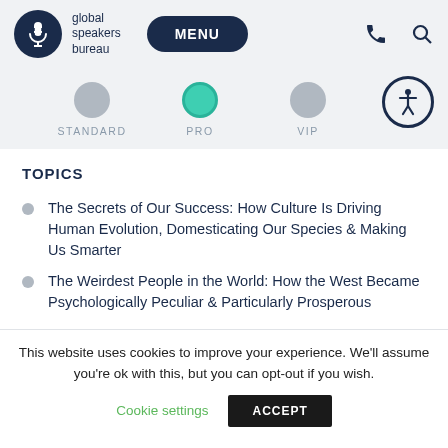global speakers bureau | MENU
[Figure (infographic): Plan selector with three circles labeled STANDARD, PRO (active/teal), VIP and an accessibility icon]
TOPICS
The Secrets of Our Success: How Culture Is Driving Human Evolution, Domesticating Our Species & Making Us Smarter
The Weirdest People in the World: How the West Became Psychologically Peculiar & Particularly Prosperous
This website uses cookies to improve your experience. We'll assume you're ok with this, but you can opt-out if you wish. Cookie settings ACCEPT